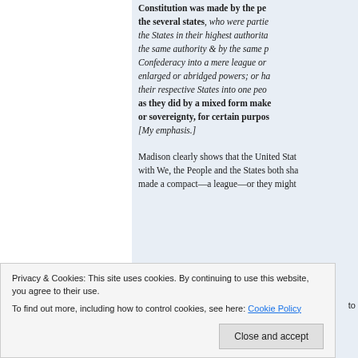Constitution was made by the people of the several states, who were parties to the States in their highest authority, by the same authority & by the same purpose, Confederacy into a mere league or enlarged or abridged powers; or had their respective States into one people, as they did by a mixed form making or sovereignty, for certain purposes. [My emphasis.]
Madison clearly shows that the United States with We, the People and the States both shared made a compact—a league—or they might to
Privacy & Cookies: This site uses cookies. By continuing to use this website, you agree to their use.
To find out more, including how to control cookies, see here: Cookie Policy